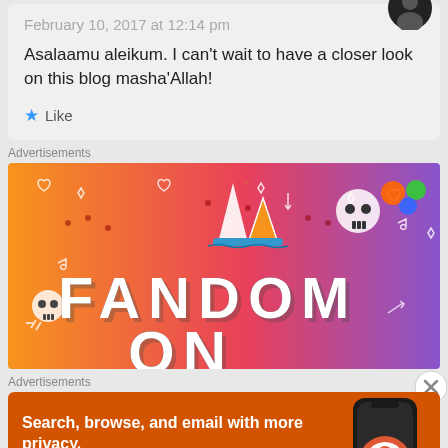February 10, 2017 at 12:14 pm
Asalaamu aleikum. I can't wait to have a closer look on this blog masha'Allah!
Like
Advertisements
[Figure (illustration): Fandom advertisement banner with colorful orange-to-purple gradient background, sticker-style icons (sailboat, skull, flowers, dice), and text reading FANDOM ON]
Advertisements
[Figure (illustration): DuckDuckGo advertisement with orange background showing a smartphone. Text: Search, browse, and email with more privacy. All in One Free App. DuckDuckGo logo.]